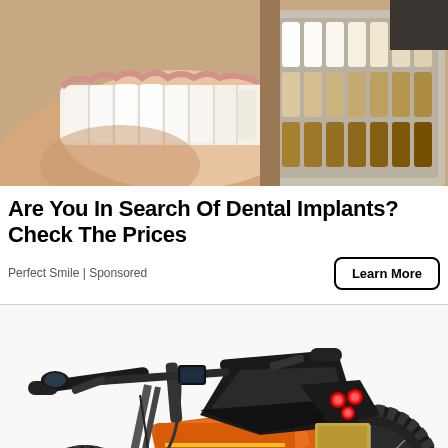[Figure (photo): Close-up photo of a person's mouth with white teeth near a dental shade guide/veneer sample tray showing rows of tooth-colored samples]
Are You In Search Of Dental Implants? Check The Prices
Perfect Smile | Sponsored
Learn More
[Figure (photo): Photo of an orange and black electric dirt bike / e-motorcycle with knobby tires, red LED tail lights, and handlebar controls, shown against a white background]